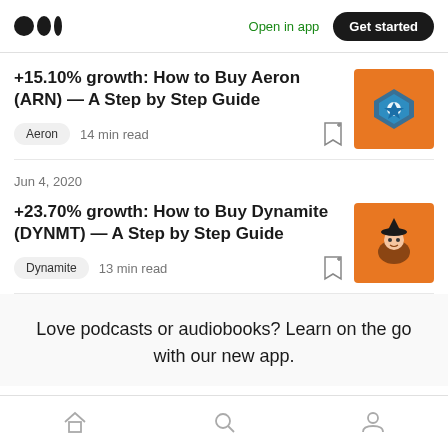Medium logo | Open in app | Get started
+15.10% growth: How to Buy Aeron (ARN) — A Step by Step Guide
Aeron  14 min read
Jun 4, 2020
+23.70% growth: How to Buy Dynamite (DYNMT) — A Step by Step Guide
Dynamite  13 min read
Love podcasts or audiobooks? Learn on the go with our new app.
Home | Search | Profile